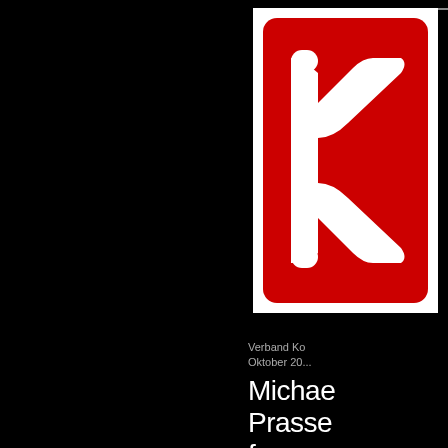[Figure (logo): Red square logo with white rounded chevron/arrow shapes (K-like symbol), white border on dark background. Likely Sparkasse or similar German institution logo.]
Verband Ko
Oktober 20...
Michae
Prasse
frame
Namen
in Go...